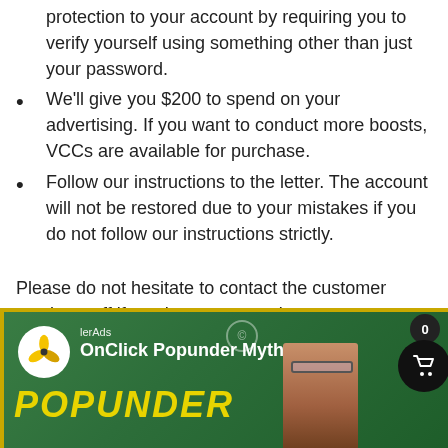protection to your account by requiring you to verify yourself using something other than just your password.
We’ll give you $200 to spend on your advertising. If you want to conduct more boosts, VCCs are available for purchase.
Follow our instructions to the letter. The account will not be restored due to your mistakes if you do not follow our instructions strictly.
Please do not hesitate to contact the customer service staff if you have any queries.
[Figure (screenshot): A YouTube-style video thumbnail for 'OnClick Popunder Myths' by PropellerAds channel, showing a woman with glasses, yellow 'POPUNDER' text, on a dark green background with yellow border. A notification badge showing '0' and a shopping cart button overlay the image.]